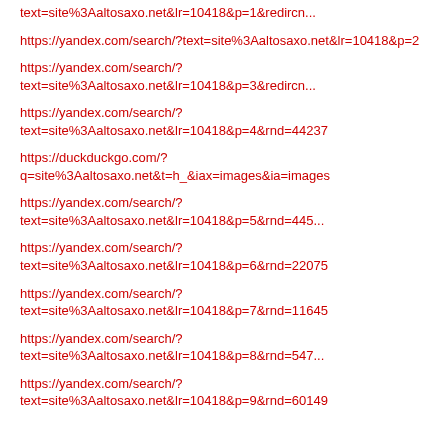text=site%3Aaltosaxo.net&lr=10418&p=1&redircn...
https://yandex.com/search/?text=site%3Aaltosaxo.net&lr=10418&p=2
https://yandex.com/search/?text=site%3Aaltosaxo.net&lr=10418&p=3&redircn...
https://yandex.com/search/?text=site%3Aaltosaxo.net&lr=10418&p=4&rnd=44237
https://duckduckgo.com/?q=site%3Aaltosaxo.net&t=h_&iax=images&ia=images
https://yandex.com/search/?text=site%3Aaltosaxo.net&lr=10418&p=5&rnd=445...
https://yandex.com/search/?text=site%3Aaltosaxo.net&lr=10418&p=6&rnd=22075
https://yandex.com/search/?text=site%3Aaltosaxo.net&lr=10418&p=7&rnd=11645
https://yandex.com/search/?text=site%3Aaltosaxo.net&lr=10418&p=8&rnd=547...
https://yandex.com/search/?text=site%3Aaltosaxo.net&lr=10418&p=9&rnd=60149